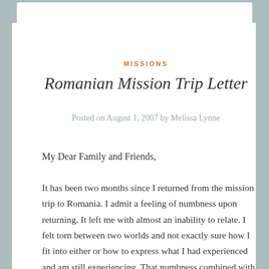MISSIONS
Romanian Mission Trip Letter
Posted on August 1, 2007 by Melissa Lynne
My Dear Family and Friends,
It has been two months since I returned from the mission trip to Romania. I admit a feeling of numbness upon returning. It left me with almost an inability to relate. I felt torn between two worlds and not exactly sure how I fit into either or how to express what I had experienced and am still experiencing. That numbness combined with